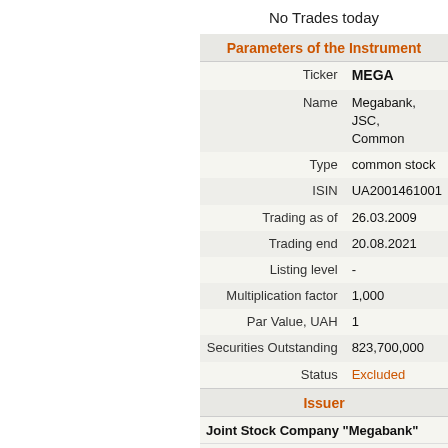No Trades today
Parameters of the Instrument
| Label | Value |
| --- | --- |
| Ticker | MEGA |
| Name | Megabank, JSC, Common |
| Type | common stock |
| ISIN | UA2001461001 |
| Trading as of | 26.03.2009 |
| Trading end | 20.08.2021 |
| Listing level | - |
| Multiplication factor | 1,000 |
| Par Value, UAH | 1 |
| Securities Outstanding | 823,700,000 |
| Status | Excluded |
Issuer
Joint Stock Company "Megabank"
| Label | Value |
| --- | --- |
| Short Name | Megabank, JSC |
| Issuer code | MEGA |
| Registration ID | 09804119 |
| Website | www.megabank.net |